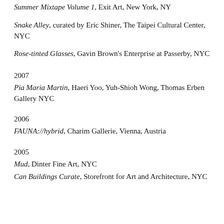Summer Mixtape Volume 1, Exit Art, New York, NY
Snake Alley, curated by Eric Shiner, The Taipei Cultural Center, NYC
Rose-tinted Glasses, Gavin Brown's Enterprise at Passerby, NYC
2007
Pia Maria Martin, Haeri Yoo, Yuh-Shioh Wong, Thomas Erben Gallery NYC
2006
FAUNA://hybrid, Charim Gallerie, Vienna, Austria
2005
Mud, Dinter Fine Art, NYC
Can Buildings Curate, Storefront for Art and Architecture, NYC